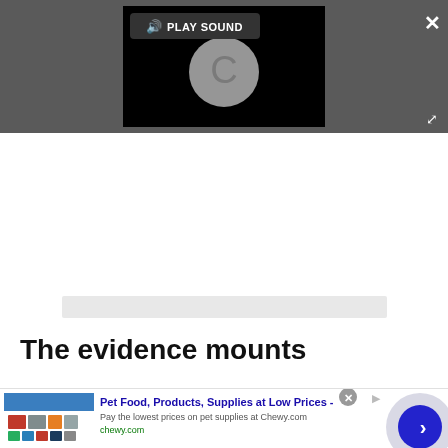[Figure (screenshot): Video player overlay on dark grey background. Shows a 'PLAY SOUND' button with speaker icon at top, a black video player area with a Chrome-style loading spinner (grey circle with C), a white X close button top-right, and an expand/fullscreen icon bottom-right.]
[Figure (screenshot): Grey placeholder bar below the video area, representing a loading or empty UI element.]
The evidence mounts
[Figure (screenshot): Advertisement banner for Chewy.com: 'Pet Food, Products, Supplies at Low Prices -' with description 'Pay the lowest prices on pet supplies at Chewy.com' and URL 'chewy.com'. Shows product thumbnails on the left and a blue circular next arrow button on the right. Has a grey X close button and an ad info icon.]